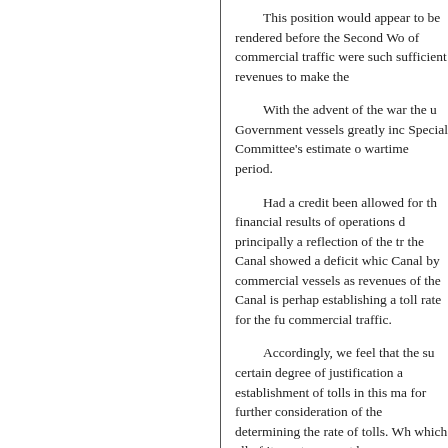This position would appear to be rendered before the Second Wo of commercial traffic were such sufficient revenues to make the
With the advent of the war the u Government vessels greatly inc Special Committee's estimate o wartime period.
Had a credit been allowed for th financial results of operations d principally a reflection of the tr the Canal showed a deficit whic Canal by commercial vessels as revenues of the Canal is perhap establishing a toll rate for the fu commercial traffic.
Accordingly, we feel that the su certain degree of justification a establishment of tolls in this ma for further consideration of the determining the rate of tolls. Wh which all of its costs are met by